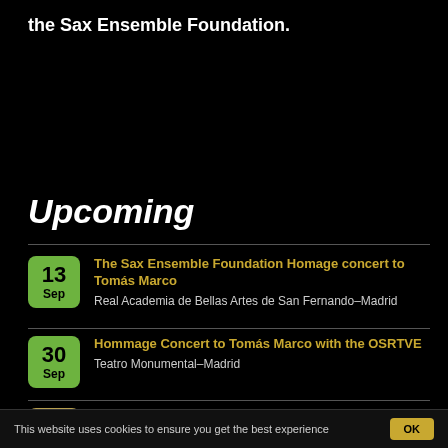the Sax Ensemble Foundation.
Upcoming
13 Sep — The Sax Ensemble Foundation Homage concert to Tomás Marco | Real Academia de Bellas Artes de San Fernando–Madrid
30 Sep — Hommage Concert to Tomás Marco with the OSRTVE | Teatro Monumental–Madrid
18 — Fuenteovejuna by Jorge Muñiz at the Tenerife's Opera
This website uses cookies to ensure you get the best experience